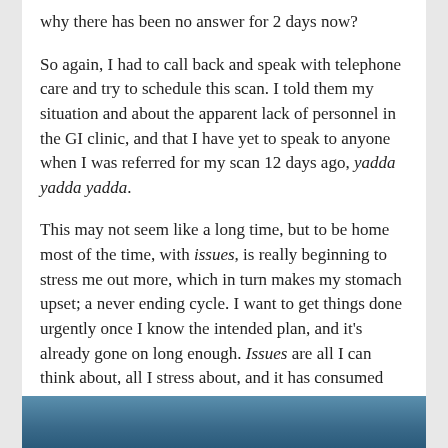why there has been no answer for 2 days now?
So again, I had to call back and speak with telephone care and try to schedule this scan. I told them my situation and about the apparent lack of personnel in the GI clinic, and that I have yet to speak to anyone when I was referred for my scan 12 days ago, yadda yadda yadda.
This may not seem like a long time, but to be home most of the time, with issues, is really beginning to stress me out more, which in turn makes my stomach upset; a never ending cycle. I want to get things done urgently once I know the intended plan, and it's already gone on long enough. Issues are all I can think about, all I stress about, and it has consumed every aspect of my life lately.
[Figure (photo): Bottom strip showing a partial image, appears to be a blue/teal colored photograph at the bottom of the page]